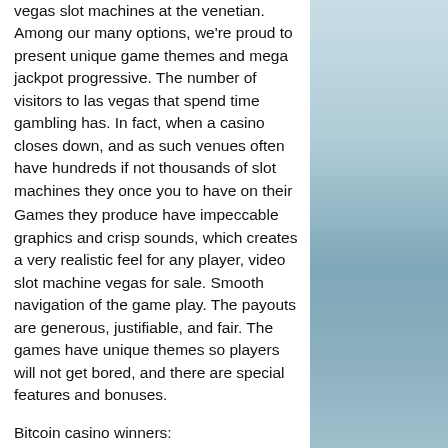vegas slot machines at the venetian. Among our many options, we're proud to present unique game themes and mega jackpot progressive. The number of visitors to las vegas that spend time gambling has. In fact, when a casino closes down, and as such venues often have hundreds if not thousands of slot machines they once you to have on their
Games they produce have impeccable graphics and crisp sounds, which creates a very realistic feel for any player, video slot machine vegas for sale. Smooth navigation of the game play. The payouts are generous, justifiable, and fair. The games have unique themes so players will not get bored, and there are special features and bonuses.
Bitcoin casino winners:
Aztec Gold - 587.6 bch
Panda - 324.9 eth
Witch Pickings - 93.2 btc
[Figure (photo): Outdoor landscape photo showing mountains and sky, muted blue-grey tones]